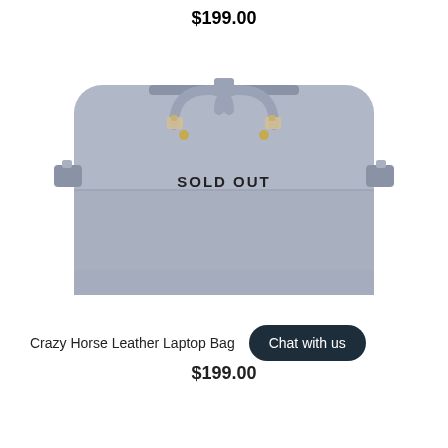$199.00
[Figure (photo): Gray Crazy Horse Leather Laptop Bag with two top handles, gold hardware buckles, front pocket, and shoulder strap attachments. Overlaid with 'SOLD OUT' text.]
Crazy Horse Leather Laptop Bag
Chat with us
$199.00